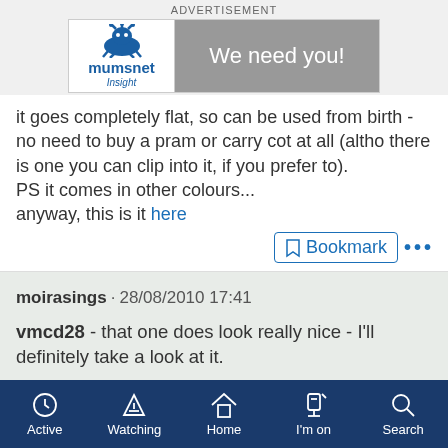[Figure (other): Mumsnet Insight advertisement banner with 'We need you!' call to action]
it goes completely flat, so can be used from birth - no need to buy a pram or carry cot at all (altho there is one you can clip into it, if you prefer to).
PS it comes in other colours...
anyway, this is it here
Bookmark ...
moirasings · 28/08/2010 17:41
vmcd28 - that one does look really nice - I'll definitely take a look at it.
Active  Watching  Home  I'm on  Search